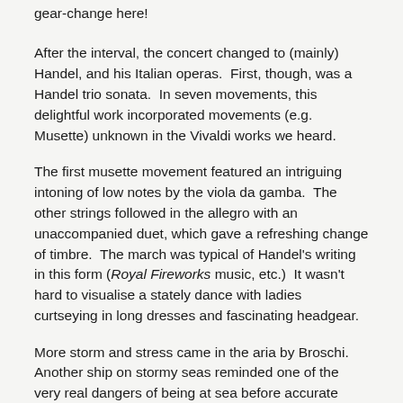gear-change here!
After the interval, the concert changed to (mainly) Handel, and his Italian operas.  First, though, was a Handel trio sonata.  In seven movements, this delightful work incorporated movements (e.g. Musette) unknown in the Vivaldi works we heard.
The first musette movement featured an intriguing intoning of low notes by the viola da gamba.  The other strings followed in the allegro with an unaccompanied duet, which gave a refreshing change of timbre.  The march was typical of Handel's writing in this form (Royal Fireworks music, etc.)  It wasn't hard to visualise a stately dance with ladies curtseying in long dresses and fascinating headgear.
More storm and stress came in the aria by Broschi.  Another ship on stormy seas reminded one of the very real dangers of being at sea before accurate charts, radar and radio were available (nevertheless, we still have ships hitting reefs hidden beneath the waves).  This aria demonstrated the singer's huge